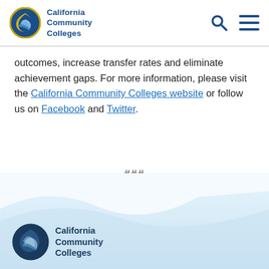California Community Colleges
outcomes, increase transfer rates and eliminate achievement gaps. For more information, please visit the California Community Colleges website or follow us on Facebook and Twitter.
###
[Figure (logo): California Community Colleges footer logo with circular wave emblem in dark blue and white]
California Community Colleges